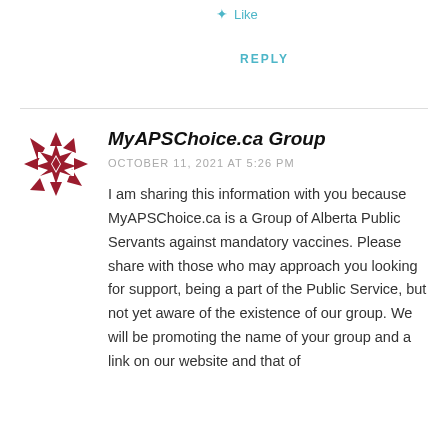Like
REPLY
[Figure (logo): MyAPSChoice.ca Group avatar logo — a dark red/maroon geometric star/quilt pattern badge]
MyAPSChoice.ca Group
OCTOBER 11, 2021 AT 5:26 PM
I am sharing this information with you because MyAPSChoice.ca is a Group of Alberta Public Servants against mandatory vaccines. Please share with those who may approach you looking for support, being a part of the Public Service, but not yet aware of the existence of our group. We will be promoting the name of your group and a link on our website and that of Health Care Professionals United…